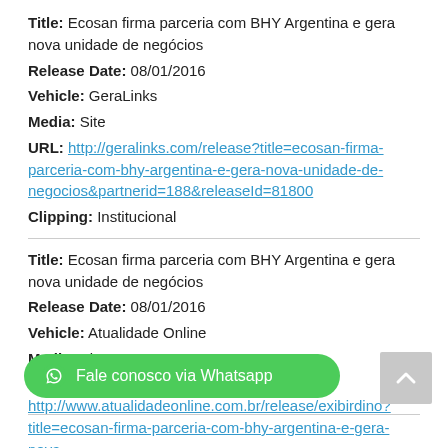Title: Ecosan firma parceria com BHY Argentina e gera nova unidade de negócios
Release Date: 08/01/2016
Vehicle: GeraLinks
Media: Site
URL: http://geralinks.com/release?title=ecosan-firma-parceria-com-bhy-argentina-e-gera-nova-unidade-de-negocios&partnerid=188&releaseId=81800
Clipping: Institucional
Title: Ecosan firma parceria com BHY Argentina e gera nova unidade de negócios
Release Date: 08/01/2016
Vehicle: Atualidade Online
Media: Site
URL: http://www.atualidadeonline.com.br/release/exibirdino?title=ecosan-firma-parceria-com-bhy-argentina-e-gera-nova-unidade-de-negocios&partnerid=44&releaseId=81800
Fale conosco via Whatsapp